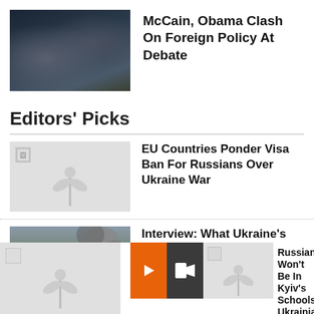[Figure (photo): Two men in dark suits, one profile and one partially visible, likely Obama and McCain at a debate]
McCain, Obama Clash On Foreign Policy At Debate
Editors' Picks
[Figure (photo): Broken image placeholder with flower/plant icon]
EU Countries Ponder Visa Ban For Russians Over Ukraine War
[Figure (photo): Military artillery firing with large smoke cloud against cloudy sky]
Interview: What Ukraine's New Strategy Means For The Next Phase Of The War
[Figure (photo): Broken image placeholder with flower/plant icon]
Russian Won't Be Taught In Kyiv's Schools. How Ukrainians Feel Ab...
[Figure (photo): Broken image placeholder - partially visible bottom left article]
A... C...